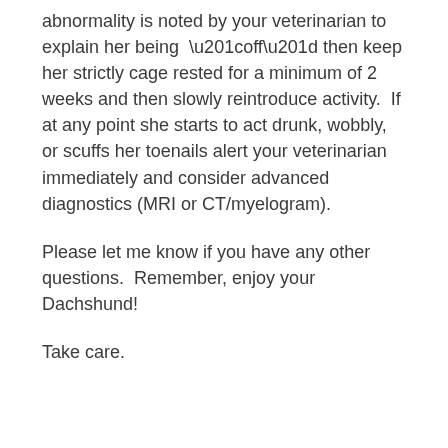abnormality is noted by your veterinarian to explain her being “off” then keep her strictly cage rested for a minimum of 2 weeks and then slowly reintroduce activity. If at any point she starts to act drunk, wobbly, or scuffs her toenails alert your veterinarian immediately and consider advanced diagnostics (MRI or CT/myelogram).
Please let me know if you have any other questions. Remember, enjoy your Dachshund!
Take care.